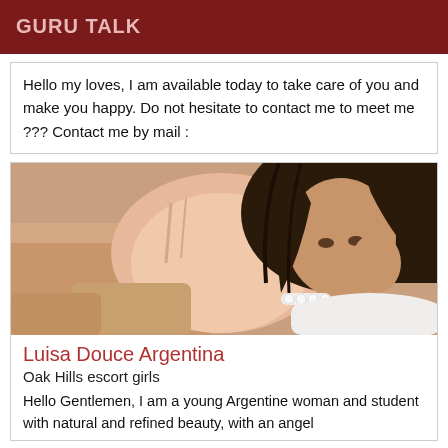GURU TALK
Hello my loves, I am available today to take care of you and make you happy. Do not hesitate to contact me to meet me ??? Contact me by mail :
[Figure (photo): Photo of a young woman with long dark hair wearing a fur vest, lying on a white pillow, wearing a pearl bracelet.]
Luisa Douce Argentina
Oak Hills escort girls
Hello Gentlemen, I am a young Argentine woman and student with natural and refined beauty, with an angel